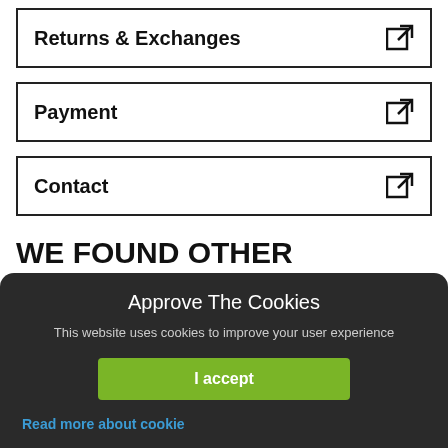Returns & Exchanges
Payment
Contact
WE FOUND OTHER PRODUCTS YOU MIGHT LIKE!
Approve The Cookies
This website uses cookies to improve your user experience
I accept
Read more about cookie